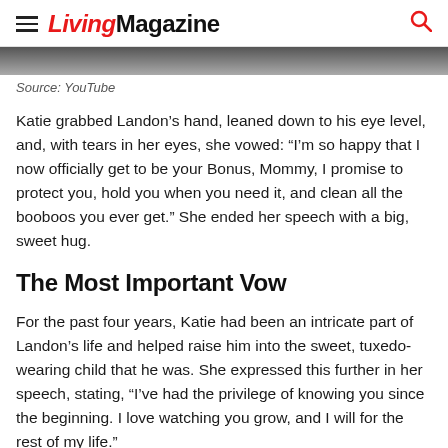Living Magazine
[Figure (photo): Partial image strip at top of article, appears to be a scene from a video]
Source: YouTube
Katie grabbed Landon’s hand, leaned down to his eye level, and, with tears in her eyes, she vowed: “I’m so happy that I now officially get to be your Bonus, Mommy, I promise to protect you, hold you when you need it, and clean all the booboos you ever get.” She ended her speech with a big, sweet hug.
The Most Important Vow
For the past four years, Katie had been an intricate part of Landon’s life and helped raise him into the sweet, tuxedo-wearing child that he was. She expressed this further in her speech, stating, “I’ve had the privilege of knowing you since the beginning. I love watching you grow, and I will for the rest of my life.”